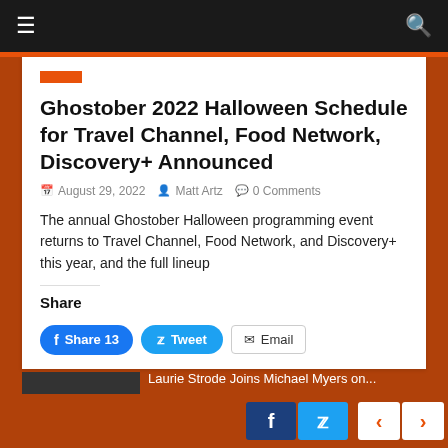Navigation bar with menu and search icons
Ghostober 2022 Halloween Schedule for Travel Channel, Food Network, Discovery+ Announced
August 29, 2022   Matt Artz   0 Comments
The annual Ghostober Halloween programming event returns to Travel Channel, Food Network, and Discovery+ this year, and the full lineup
Share
Share 13  Tweet  Email
Social share buttons: Facebook, Twitter, navigation arrows